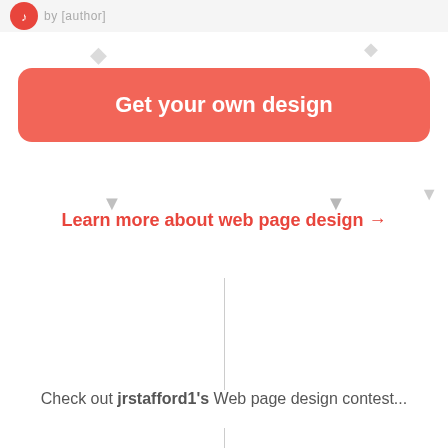by [author]
[Figure (illustration): Red button labeled 'Get your own design' and link 'Learn more about web page design →' on a white background with decorative diamond shapes]
Check out jrstafford1's Web page design contest...